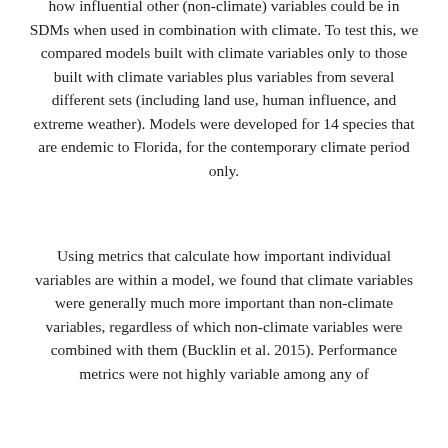how influential other (non-climate) variables could be in SDMs when used in combination with climate. To test this, we compared models built with climate variables only to those built with climate variables plus variables from several different sets (including land use, human influence, and extreme weather). Models were developed for 14 species that are endemic to Florida, for the contemporary climate period only.
Using metrics that calculate how important individual variables are within a model, we found that climate variables were generally much more important than non-climate variables, regardless of which non-climate variables were combined with them (Bucklin et al. 2015). Performance metrics were not highly variable among any of